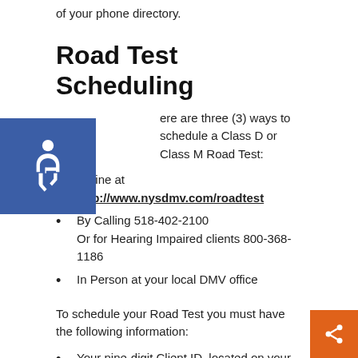of your phone directory.
Road Test Scheduling
[Figure (illustration): Blue accessibility icon with wheelchair symbol]
There are three (3) ways to schedule a Class D or Class M Road Test:
Online at http://www.nysdmv.com/roadtest
By Calling 518-402-2100
Or for Hearing Impaired clients 800-368-1186
In Person at your local DMV office
To schedule your Road Test you must have the following information:
Your nine-digit Client ID, located on your learner permit.
[Figure (illustration): Orange share button with share icon]